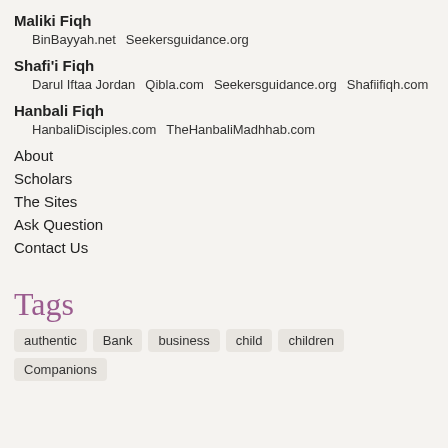Maliki Fiqh
BinBayyah.net    Seekersguidance.org
Shafi'i Fiqh
Darul Iftaa Jordan    Qibla.com    Seekersguidance.org    Shafiifiqh.com
Hanbali Fiqh
HanbaliDisciples.com    TheHanbaliMadhhab.com
About
Scholars
The Sites
Ask Question
Contact Us
Tags
authentic   Bank   business   child   children   Companions